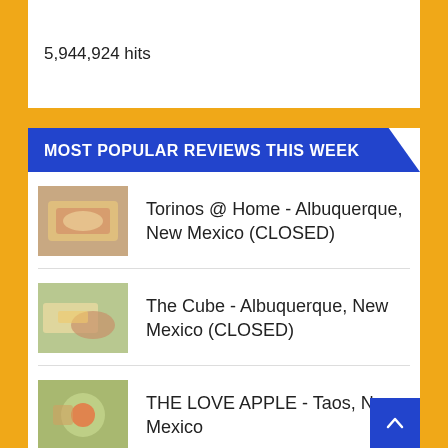5,944,924 hits
MOST POPULAR REVIEWS THIS WEEK
Torinos @ Home - Albuquerque, New Mexico (CLOSED)
The Cube - Albuquerque, New Mexico (CLOSED)
THE LOVE APPLE - Taos, New Mexico
Europa Food. Farm. Festival - Los Lunas, New Mexico